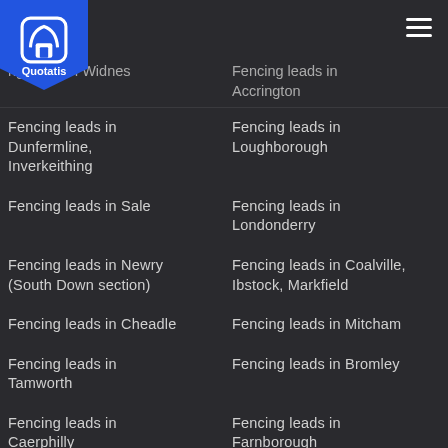Quotatis
Fencing leads in Widnes
Fencing leads in Accrington
Fencing leads in Dunfermline, Inverkeithing
Fencing leads in Loughborough
Fencing leads in Sale
Fencing leads in Londonderry
Fencing leads in Newry (South Down section)
Fencing leads in Coalville, Ibstock, Markfield
Fencing leads in Cheadle
Fencing leads in Mitcham
Fencing leads in Tamworth
Fencing leads in Bromley
Fencing leads in Caerphilly
Fencing leads in Farnborough
Fencing leads in Airdrie
Fencing leads in Motherwell
Fencing leads in Southport
Fencing leads in Barking
Fencing leads in Leighton
Fencing leads in Newton